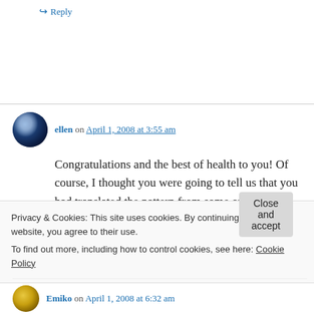↪ Reply
ellen on April 1, 2008 at 3:55 am
Congratulations and the best of health to you! Of course, I thought you were going to tell us that you had translated the pattern from some other
Privacy & Cookies: This site uses cookies. By continuing to use this website, you agree to their use.
To find out more, including how to control cookies, see here: Cookie Policy
Close and accept
Emiko on April 1, 2008 at 6:32 am